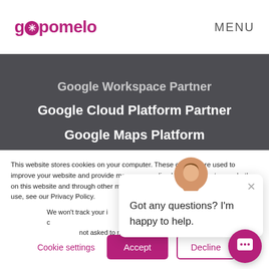gopomelo
MENU
Google Workspace Partner
Google Cloud Platform Partner
Google Maps Platform
Workplace Partner Thailand
This website stores cookies on your computer. These cookies are used to improve your website and provide more personalized services to you, both on this website and through other media. To find out more about the cookies we use, see our Privacy Policy.
We won't track your information when you visit our site. But in order to comply with your preferences, we'll have to use just one tiny cookie so that you're not asked to make this choice again.
Got any questions? I'm happy to help.
Cookie settings
Accept
Decline